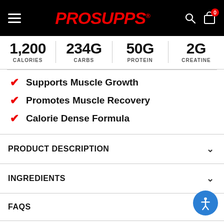ProSupps website header with logo, search, and cart
| 1,200 CALORIES | 234G CARBS | 50G PROTEIN | 2G CREATINE |
| --- | --- | --- | --- |
Supports Muscle Growth
Promotes Muscle Recovery
Calorie Dense Formula
PRODUCT DESCRIPTION
INGREDIENTS
FAQS